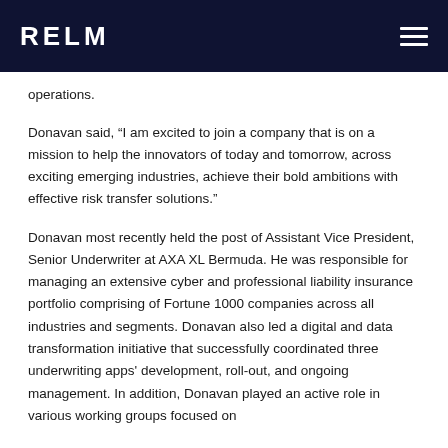RELM
operations.
Donavan said, “I am excited to join a company that is on a mission to help the innovators of today and tomorrow, across exciting emerging industries, achieve their bold ambitions with effective risk transfer solutions.”
Donavan most recently held the post of Assistant Vice President, Senior Underwriter at AXA XL Bermuda. He was responsible for managing an extensive cyber and professional liability insurance portfolio comprising of Fortune 1000 companies across all industries and segments. Donavan also led a digital and data transformation initiative that successfully coordinated three underwriting apps' development, roll-out, and ongoing management. In addition, Donavan played an active role in various working groups focused on